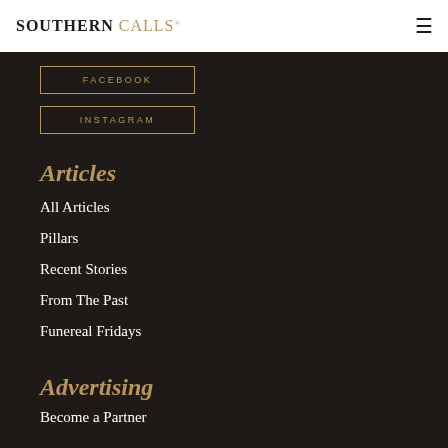SOUTHERN CALLS
FACEBOOK
INSTAGRAM
Articles
All Articles
Pillars
Recent Stories
From The Past
Funereal Fridays
Advertising
Become a Partner